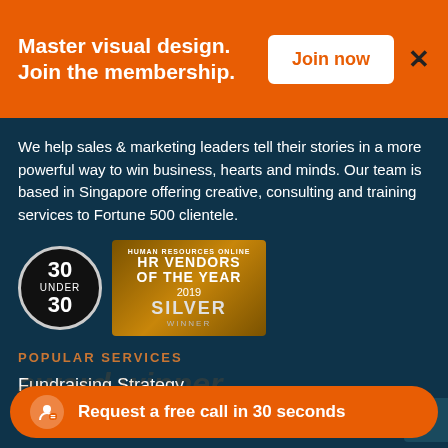Master visual design. Join the membership.
We help sales & marketing leaders tell their stories in a more powerful way to win business, hearts and minds. Our team is based in Singapore offering creative, consulting and training services to Fortune 500 clientele.
[Figure (logo): 30 Under 30 award badge circle and HR Vendors of the Year 2019 Silver Winner badge]
POPULAR SERVICES
Fundraising Strategy
Services
Case Studies
Corporate Training Courses
Request a free call in 30 seconds